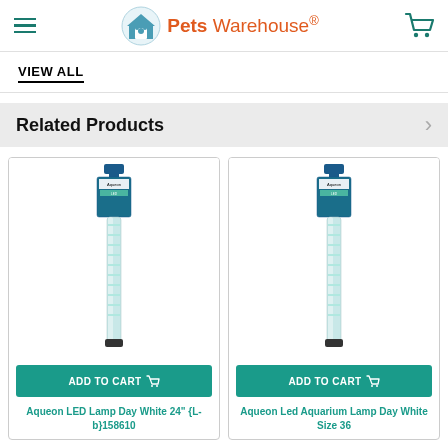Pets Warehouse
VIEW ALL
Related Products
[Figure (photo): Aqueon LED Lamp Day White 24 inch product image showing a long LED aquarium light tube in packaging]
ADD TO CART
Aqueon LED Lamp Day White 24" {L-b}158610
[Figure (photo): Aqueon Led Aquarium Lamp Day White Size 36 product image showing a long LED aquarium light tube in packaging]
ADD TO CART
Aqueon Led Aquarium Lamp Day White Size 36